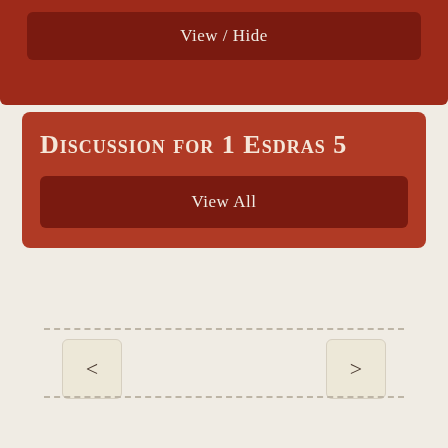View / Hide
Discussion for 1 Esdras 5
View All
<
>